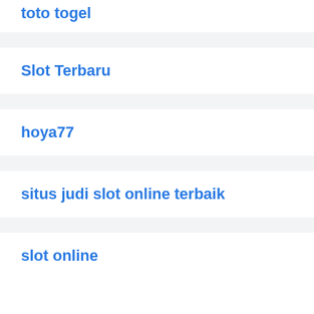toto togel
Slot Terbaru
hoya77
situs judi slot online terbaik
slot online